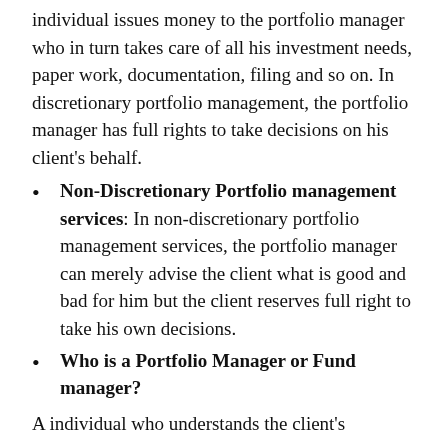individual issues money to the portfolio manager who in turn takes care of all his investment needs, paper work, documentation, filing and so on. In discretionary portfolio management, the portfolio manager has full rights to take decisions on his client's behalf.
Non-Discretionary Portfolio management services: In non-discretionary portfolio management services, the portfolio manager can merely advise the client what is good and bad for him but the client reserves full right to take his own decisions.
Who is a Portfolio Manager or Fund manager?
A individual who understands the client's...